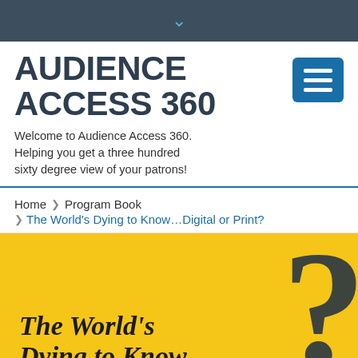▾
AUDIENCE ACCESS 360
Welcome to Audience Access 360. Helping you get a three hundred sixty degree view of your patrons!
Home  ❯  Program Book  ❯  The World's Dying to Know…Digital or Print?
[Figure (illustration): Yellow banner with large dark question mark graphic and bold serif italic text reading 'The World's Dying to Know...']